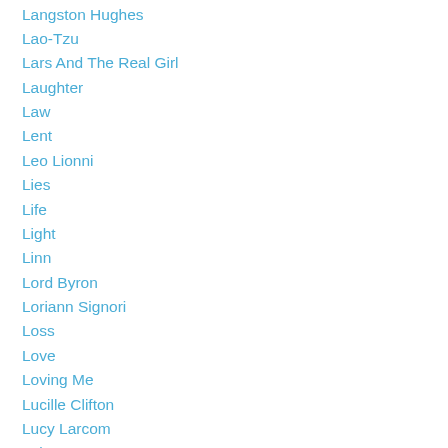Langston Hughes
Lao-Tzu
Lars And The Real Girl
Laughter
Law
Lent
Leo Lionni
Lies
Life
Light
Linn
Lord Byron
Loriann Signori
Loss
Love
Loving Me
Lucille Clifton
Lucy Larcom
Luke 2
Lynn Johnson
Madeleine L'Engle